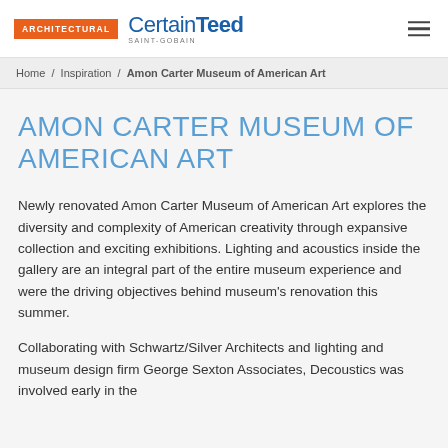ARCHITECTURAL | CertainTeed SAINT-GOBAIN
Home / Inspiration / Amon Carter Museum of American Art
AMON CARTER MUSEUM OF AMERICAN ART
Newly renovated Amon Carter Museum of American Art explores the diversity and complexity of American creativity through expansive collection and exciting exhibitions. Lighting and acoustics inside the gallery are an integral part of the entire museum experience and were the driving objectives behind museum's renovation this summer.
Collaborating with Schwartz/Silver Architects and lighting and museum design firm George Sexton Associates, Decoustics was involved early in the